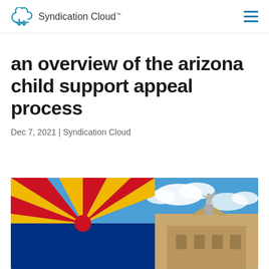Syndication Cloud™
an overview of the arizona child support appeal process
Dec 7, 2021 | Syndication Cloud
[Figure (photo): Arizona state flag waving with red and yellow sunburst pattern, alongside a statue of a winged figure atop a building, blue sky with clouds in the background]